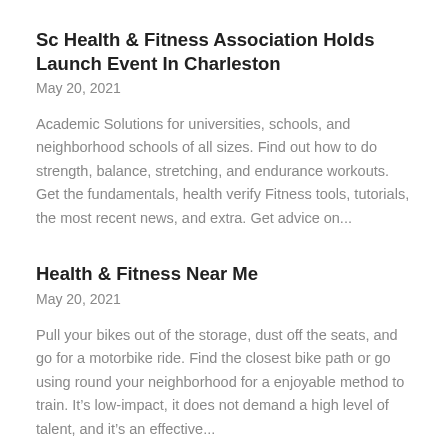Sc Health & Fitness Association Holds Launch Event In Charleston
May 20, 2021
Academic Solutions for universities, schools, and neighborhood schools of all sizes. Find out how to do strength, balance, stretching, and endurance workouts. Get the fundamentals, health verify Fitness tools, tutorials, the most recent news, and extra. Get advice on...
Health & Fitness Near Me
May 20, 2021
Pull your bikes out of the storage, dust off the seats, and go for a motorbike ride. Find the closest bike path or go using round your neighborhood for a enjoyable method to train. It’s low-impact, it does not demand a high level of talent, and it’s an effective...